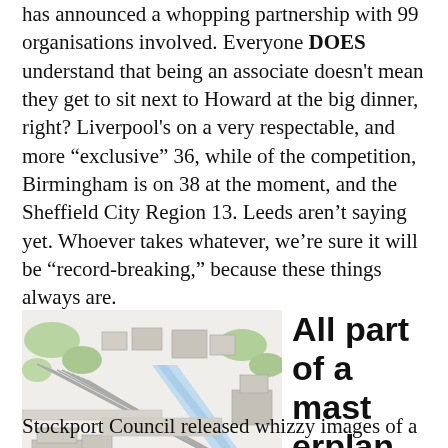has announced a whopping partnership with 99 organisations involved. Everyone DOES understand that being an associate doesn't mean they get to sit next to Howard at the big dinner, right? Liverpool's on a very respectable, and more “exclusive” 36, while of the competition, Birmingham is on 38 at the moment, and the Sheffield City Region 13. Leeds aren't saying yet. Whoever takes whatever, we're sure it will be “record-breaking,” because these things always are.
[Figure (illustration): Aerial perspective architectural illustration of an urban masterplan showing a city area with railway lines, roads, buildings, green spaces, and infrastructure, rendered in a sketch/drawing style with light watercolor-like colours.]
All part of a masterplan
Stockport Council released whizzy images of a